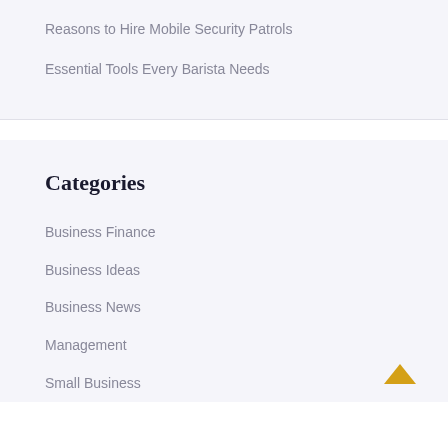Reasons to Hire Mobile Security Patrols
Essential Tools Every Barista Needs
Categories
Business Finance
Business Ideas
Business News
Management
Small Business